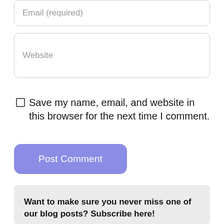Email (required)
Website
Save my name, email, and website in this browser for the next time I comment.
Post Comment
Want to make sure you never miss one of our blog posts? Subscribe here!